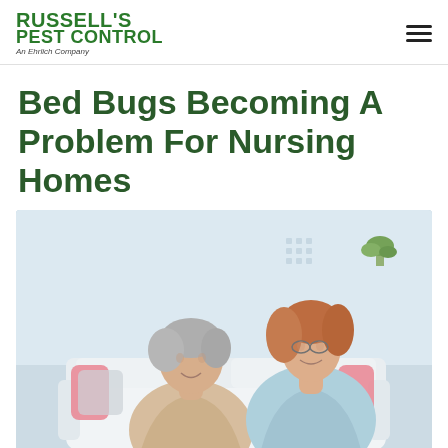RUSSELL'S PEST CONTROL An Ehrlich Company
Bed Bugs Becoming A Problem For Nursing Homes
[Figure (photo): Two women sitting on a white couch in a bright room — an older woman with short grey hair wearing a beige sweater and jeans, and a younger woman with long auburn hair wearing glasses and a light blue sweater, facing each other in conversation.]